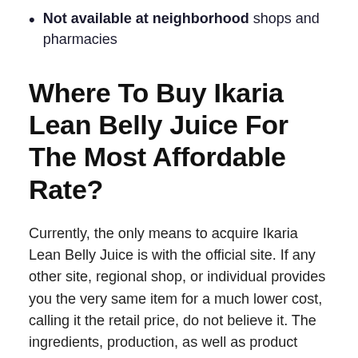Not available at neighborhood shops and pharmacies
Where To Buy Ikaria Lean Belly Juice For The Most Affordable Rate?
Currently, the only means to acquire Ikaria Lean Belly Juice is with the official site. If any other site, regional shop, or individual provides you the very same item for a much lower cost, calling it the retail price, do not believe it. The ingredients, production, as well as product handling come for a cost, as well as there is no other way you can find all that for an unbelievably low cost.